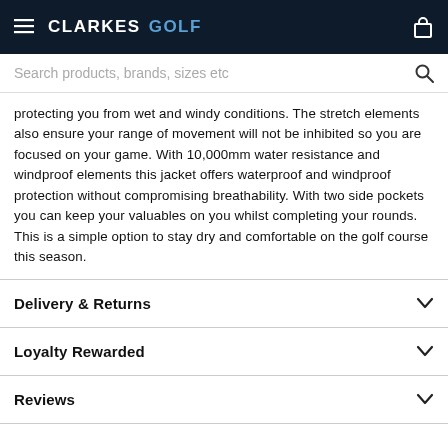CLARKES GOLF
Search products, brands, sizes etc
protecting you from wet and windy conditions. The stretch elements also ensure your range of movement will not be inhibited so you are focused on your game. With 10,000mm water resistance and windproof elements this jacket offers waterproof and windproof protection without compromising breathability. With two side pockets you can keep your valuables on you whilst completing your rounds. This is a simple option to stay dry and comfortable on the golf course this season.
Delivery & Returns
Loyalty Rewarded
Reviews